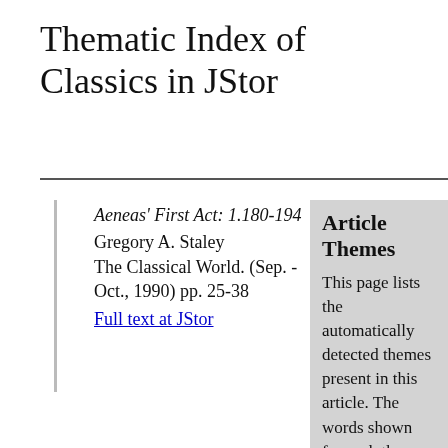Thematic Index of Classics in JStor
Aeneas' First Act: 1.180-194
Gregory A. Staley
The Classical World. (Sep. - Oct., 1990) pp. 25-38
Full text at JStor
Article Themes
This page lists the automatically detected themes present in this article. The words shown for each theme reflect the overall content of the theme.